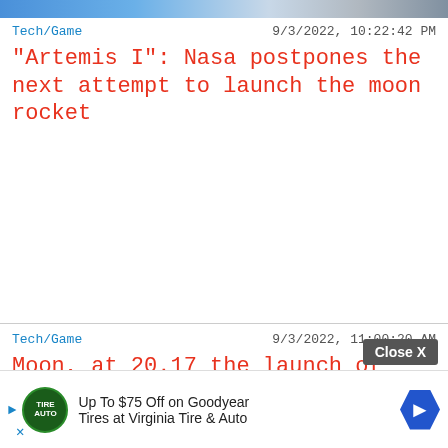[Figure (photo): Top image bar showing partial photo of rocket/space-related scene]
Tech/Game	9/3/2022, 10:22:42 PM
"Artemis I": Nasa postpones the next attempt to launch the moon rocket
Tech/Game	9/3/2022, 11:00:20 AM
Moon, at 20.17 the launch of Artemis 1 DIRECT is retried
[Figure (other): Advertisement overlay: Close X button and Goodyear/Virginia Tire & Auto ad with logo, arrow icon. Text: Up To $75 Off on Goodyear Tires at Virginia Tire & Auto]